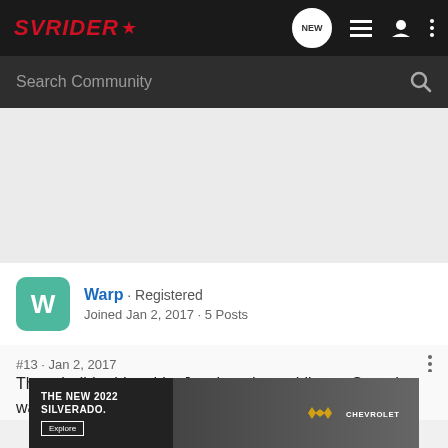[Figure (screenshot): SVRider community forum website header with dark navigation bar showing SVRider logo in red italic, and icons for NEW messages, list, user, and more options]
[Figure (screenshot): Search Community search bar with magnifying glass icon on dark gray background]
[Figure (screenshot): Light gray empty area (advertisement space)]
Warp · Registered
Joined Jan 2, 2017 · 5 Posts
#13 · Jan 2, 2017
Thought I'd add to this. Just bought my bike on Saturday, waiting for the call to pick it up. The wait is killing me.
[Figure (photo): Chevrolet advertisement banner for The New 2022 Silverado with Explore button and Chevrolet logo]